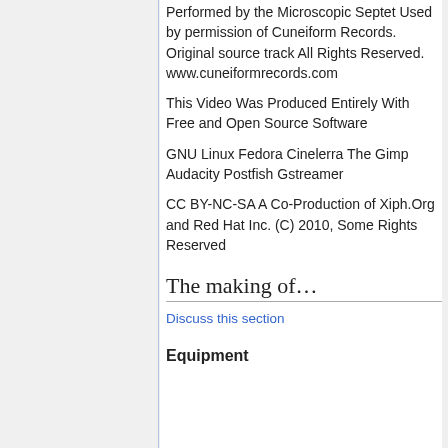Performed by the Microscopic Septet Used by permission of Cuneiform Records.
Original source track All Rights Reserved.
www.cuneiformrecords.com
This Video Was Produced Entirely With Free and Open Source Software
GNU Linux Fedora Cinelerra The Gimp Audacity Postfish Gstreamer
CC BY-NC-SA A Co-Production of Xiph.Org and Red Hat Inc. (C) 2010, Some Rights Reserved
The making of…
Discuss this section
Equipment